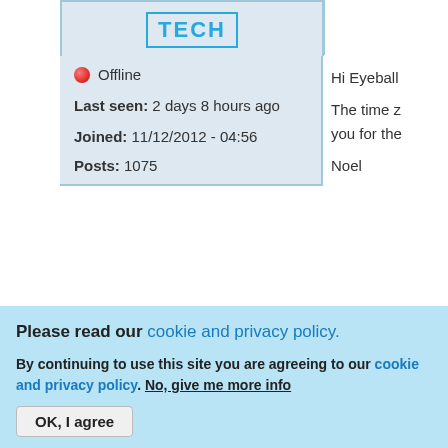[Figure (screenshot): Forum post screenshot showing user panel with TECH logo, offline status, last seen 2 days 8 hours ago, joined 11/12/2012 - 04:56, posts 1075, post content area with Hi Eyeball and FASTTECH Electronics labels, Top button, date bar Mon 01/25/2016 - 04:42, next post row with EyeballFryer username, and a cookie/privacy policy banner overlay]
Offline
Last seen: 2 days 8 hours ago
Joined: 11/12/2012 - 04:56
Posts: 1075
Hi Eyeball
The time z
you for the
Noel
FASTTECH E
Electronics
Mon, 01/25/2016 - 04:42
EyeballFryer
That imag
Please read our cookie and privacy policy.
By continuing to use this site you are agreeing to our cookie and privacy policy. No, give me more info
OK, I agree